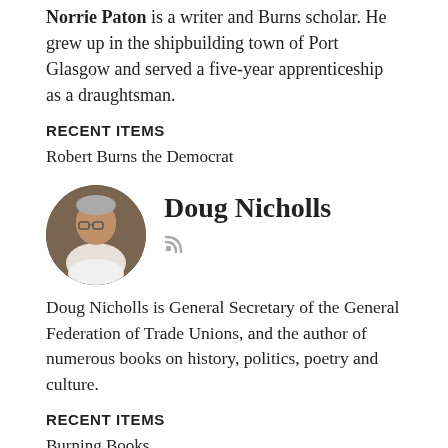Norrie Paton is a writer and Burns scholar. He grew up in the shipbuilding town of Port Glasgow and served a five-year apprenticeship as a draughtsman.
RECENT ITEMS
Robert Burns the Democrat
Doug Nicholls
Doug Nicholls is General Secretary of the General Federation of Trade Unions, and the author of numerous books on history, politics, poetry and culture.
RECENT ITEMS
Burning Books
Tayo Aluko